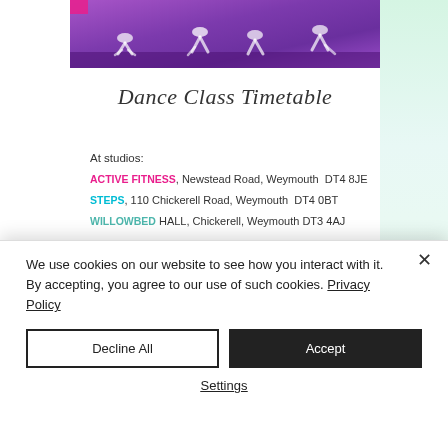[Figure (photo): Dancers on stage with purple lighting, crouching/kneeling pose]
Dance Class Timetable
At studios:
ACTIVE FITNESS, Newstead Road, Weymouth  DT4 8JE
STEPS, 110 Chickerell Road, Weymouth  DT4 0BT
WILLOWBED HALL, Chickerell, Weymouth DT3 4AJ
Monday
We use cookies on our website to see how you interact with it. By accepting, you agree to our use of such cookies. Privacy Policy
Decline All
Accept
Settings